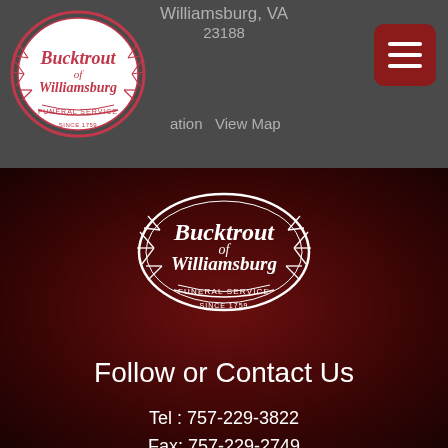Williamsburg, VA 23188
[Figure (logo): Bucktrout of Williamsburg Funeral Service logo - oval frame with wheat/laurel branches, dark red on white]
ation  View Map
[Figure (logo): Bucktrout of Williamsburg Funeral Service logo - oval frame with wheat/laurel branches, white on dark red background]
Follow or Contact Us
Tel : 757-229-3822
Fax: 757-229-2749